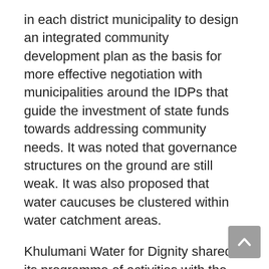in each district municipality to design an integrated community development plan as the basis for more effective negotiation with municipalities around the IDPs that guide the investment of state funds towards addressing community needs. It was noted that governance structures on the ground are still weak. It was also proposed that water caucuses be clustered within water catchment areas.
Khulumani Water for Dignity shared its programme of activities with the meeting attendees and explained that it was a community-driven initiative towards establishing a community water forum in every ward towards promoting a system of effective communication and knowledge-